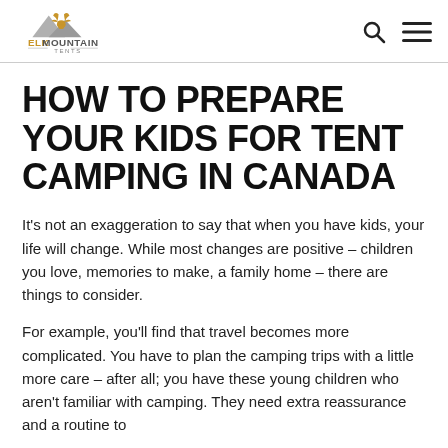ELK MOUNTAIN TENTS
HOW TO PREPARE YOUR KIDS FOR TENT CAMPING IN CANADA
It's not an exaggeration to say that when you have kids, your life will change. While most changes are positive – children you love, memories to make, a family home – there are things to consider.
For example, you'll find that travel becomes more complicated. You have to plan the camping trips with a little more care – after all; you have these young children who aren't familiar with camping. They need extra reassurance and a routine to